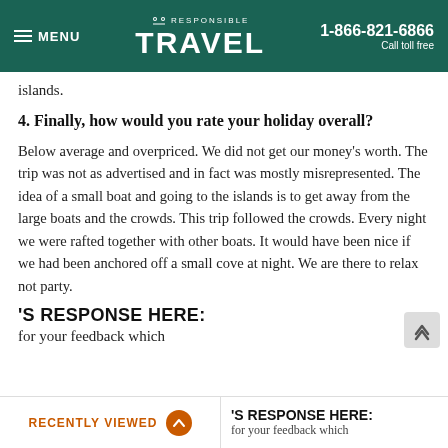MENU | RESPONSIBLE TRAVEL | 1-866-821-6866 Call toll free
islands.
4. Finally, how would you rate your holiday overall?
Below average and overpriced. We did not get our money's worth. The trip was not as advertised and in fact was mostly misrepresented. The idea of a small boat and going to the islands is to get away from the large boats and the crowds. This trip followed the crowds. Every night we were rafted together with other boats. It would have been nice if we had been anchored off a small cove at night. We are there to relax not party.
'S RESPONSE HERE:
for your feedback which